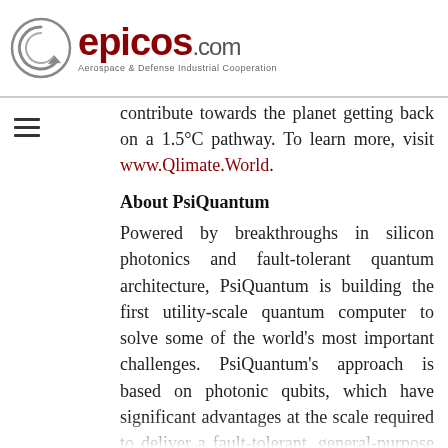epicos.com — Aerospace & Defense Industrial Cooperation
contribute towards the planet getting back on a 1.5°C pathway. To learn more, visit www.Qlimate.World.
About PsiQuantum
Powered by breakthroughs in silicon photonics and fault-tolerant quantum architecture, PsiQuantum is building the first utility-scale quantum computer to solve some of the world's most important challenges. PsiQuantum's approach is based on photonic qubits, which have significant advantages at the scale required to deliver a fault-tolerant, general-purpose quantum computer. With quantum chips now being manufactured in a world-leading semiconductor fab, PsiQuantum is uniquely positioned to deliver quantum capabilities that